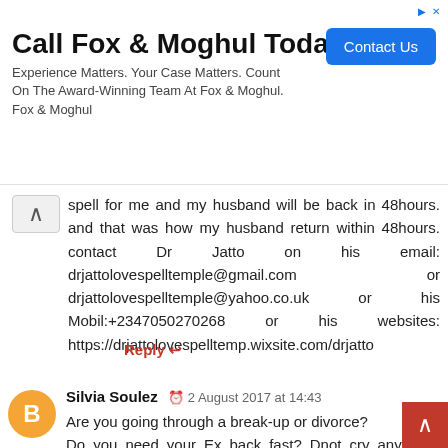[Figure (screenshot): Advertisement banner for Fox & Moghul law firm with Contact Us button]
spell for me and my husband will be back in 48hours. and that was how my husband return within 48hours. contact Dr Jatto on his email: drjattolovespelltemple@gmail.com or drjattolovespelltemple@yahoo.co.uk or his Mobil:+2347050270268 or his websites: https://drjattolovespelltemp.wixsite.com/drjatto
Reply ↩
Silvia Soulez  ⊙  2 August 2017 at 14:43
Are you going through a break-up or divorce?
Do you need your Ex back fast? Dnot cry anymore, contact Dr .Goodluck for powerful Love spell that work fast now!! I was hurt and heart broken when my Husband breakup with me, and i could not know what next to do again, I love my Husband so much but was cheating on me with another woman and this